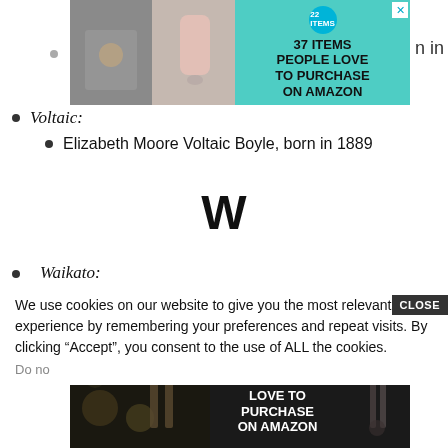[Figure (photo): Advertisement banner: '37 Items People Love to Purchase on Amazon' on teal background with product photos on the left]
Voltaic:
Elizabeth Moore Voltaic Boyle, born in 1889
W
Waikato:
We use cookies on our website to give you the most relevant experience by remembering your preferences and repeat visits. By clicking “Accept”, you consent to the use of ALL the cookies.
Do no
[Figure (photo): Advertisement banner: '37 Items People Love to Purchase on Amazon' on dark background with food/knife photos]